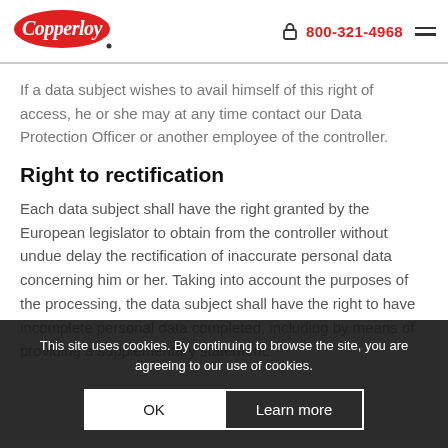Copperloy | 800-321-4968
If a data subject wishes to avail himself of this right of access, he or she may at any time contact our Data Protection Officer or another employee of the controller.
Right to rectification
Each data subject shall have the right granted by the European legislator to obtain from the controller without undue delay the rectification of inaccurate personal data concerning him or her. Taking into account the purposes of the processing, the data subject shall have the right to have incomplete personal data completed, including by means of providing a supplementary statement.
This site uses cookies. By continuing to browse the site, you are agreeing to our use of cookies.